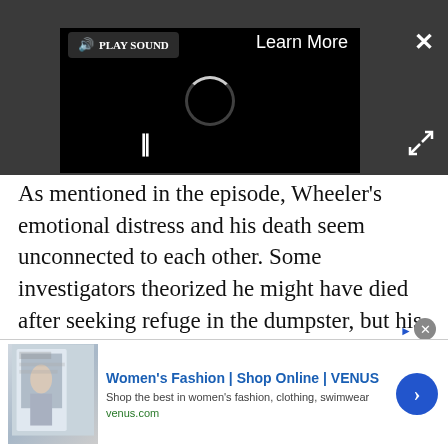[Figure (screenshot): Video player with black background, loading spinner, pause button, 'PLAY SOUND' button, 'Learn More' link, and close X button on dark grey overlay]
As mentioned in the episode, Wheeler's emotional distress and his death seem unconnected to each other. Some investigators theorized he might have died after seeking refuge in the dumpster, but his brutal wounds are inconsistent with that—Wheeler was pretty badly beaten, according to the report. In addition, Wheeler's Rolex watch, West Point ring, and wallet with money were all left on him.
[Figure (screenshot): Advertisement banner for Women's Fashion | Shop Online | VENUS with thumbnail image, close button, and arrow button]